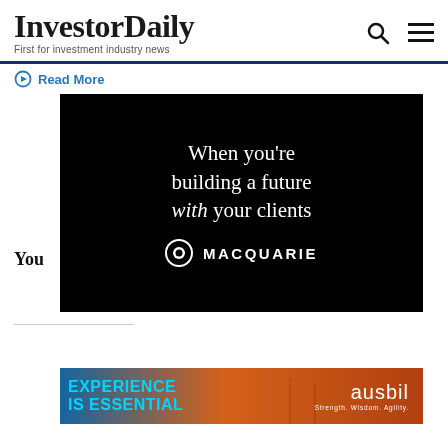InvestorDaily — First for investment industry news
Read More
You
[Figure (advertisement): Macquarie advertisement on black background: 'When you're building a future with your clients' with Macquarie logo]
[Figure (advertisement): Ausbil advertisement: 'EXPERIENCE IS ESSENTIAL' in cyan on left, 'ausbil Strength. Wisdom. Agility.' on right with wind turbine background]